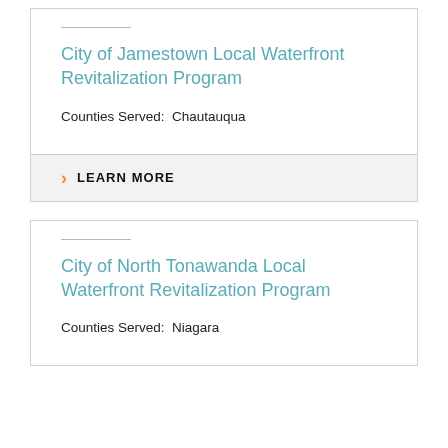City of Jamestown Local Waterfront Revitalization Program
Counties Served:  Chautauqua
LEARN MORE
City of North Tonawanda Local Waterfront Revitalization Program
Counties Served:  Niagara